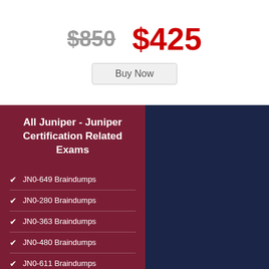$850  $425
Buy Now
All Juniper - Juniper Certification Related Exams
JN0-649 Braindumps
JN0-280 Braindumps
JN0-363 Braindumps
JN0-480 Braindumps
JN0-611 Braindumps
JN0-1102 Braindumps